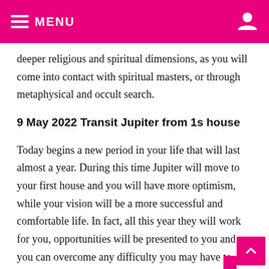MENU
deeper religious and spiritual dimensions, as you will come into contact with spiritual masters, or through metaphysical and occult search.
9 May 2022 Transit Jupiter from 1s house
Today begins a new period in your life that will last almost a year. During this time Jupiter will move to your first house and you will have more optimism, while your vision will be a more successful and comfortable life. In fact, all this year they will work for you, opportunities will be presented to you and you can overcome any difficulty you may have to achieve success.